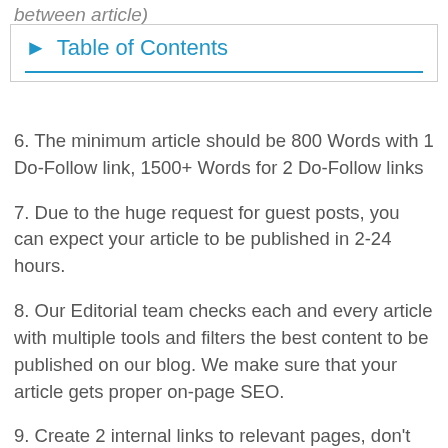between article)
Table of Contents
6. The minimum article should be 800 Words with 1 Do-Follow link, 1500+ Words for 2 Do-Follow links
7. Due to the huge request for guest posts, you can expect your article to be published in 2-24 hours.
8. Our Editorial team checks each and every article with multiple tools and filters the best content to be published on our blog. We make sure that your article gets proper on-page SEO.
9. Create 2 internal links to relevant pages, don't